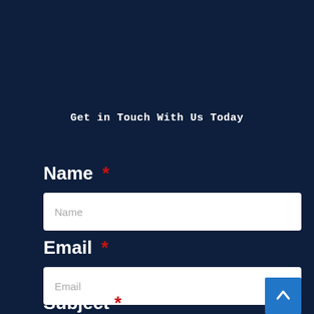Get in Touch With Us Today
Name *
Name (placeholder)
Email *
Email (placeholder)
Subject *